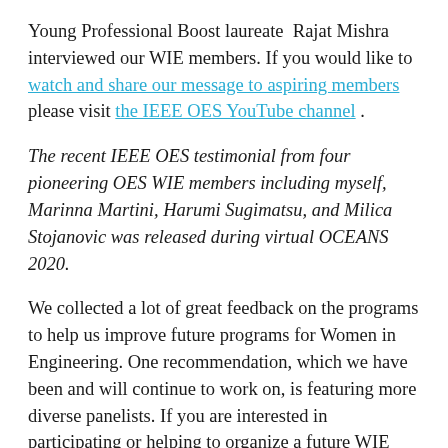Young Professional Boost laureate Rajat Mishra interviewed our WIE members. If you would like to watch and share our message to aspiring members please visit the IEEE OES YouTube channel .
The recent IEEE OES testimonial from four pioneering OES WIE members including myself, Marinna Martini, Harumi Sugimatsu, and Milica Stojanovic was released during virtual OCEANS 2020.
We collected a lot of great feedback on the programs to help us improve future programs for Women in Engineering. One recommendation, which we have been and will continue to work on, is featuring more diverse panelists. If you are interested in participating or helping to organize a future WIE program or have recommendations, please reach out to me. Let's work together to